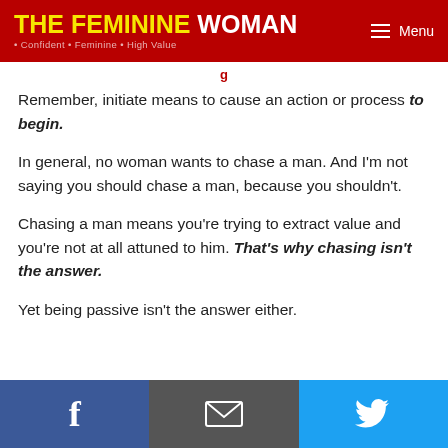THE FEMININE WOMAN • Confident • Feminine • High Value | Menu
Remember, initiate means to cause an action or process to begin.
In general, no woman wants to chase a man. And I'm not saying you should chase a man, because you shouldn't.
Chasing a man means you're trying to extract value and you're not at all attuned to him. That's why chasing isn't the answer.
Yet being passive isn't the answer either.